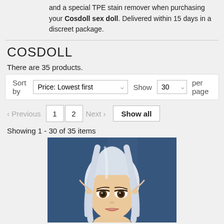and a special TPE stain remover when purchasing your Cosdoll sex doll. Delivered within 15 days in a discreet package.
COSDOLL
There are 35 products.
Sort by  Price: Lowest first  Show  30  per page
‹ Previous  1  2  Next ›  Show all
Showing 1 - 30 of 35 items
[Figure (photo): Photo of a doll face with white/silver hair, elf ears, and a blue background.]